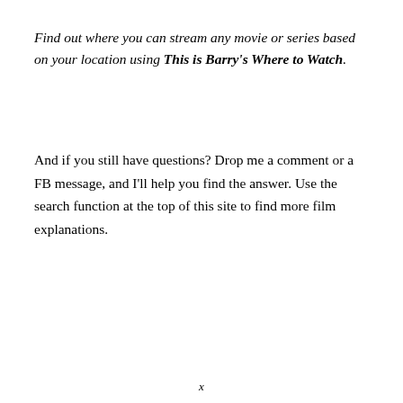Find out where you can stream any movie or series based on your location using This is Barry's Where to Watch.
And if you still have questions? Drop me a comment or a FB message, and I'll help you find the answer. Use the search function at the top of this site to find more film explanations.
x